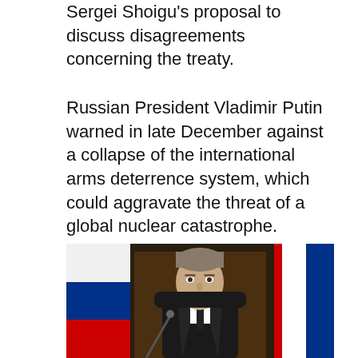Sergei Shoigu's proposal to discuss disagreements concerning the treaty.
Russian President Vladimir Putin warned in late December against a collapse of the international arms deterrence system, which could aggravate the threat of a global nuclear catastrophe.
[Figure (photo): Photo of a man in a dark suit and tie standing at a podium with microphones, flanked by Russian and other national flags in the background, in what appears to be an official government setting.]